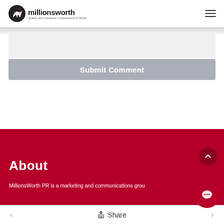millionsworth | Quality and Creativity | Impressions of Worth
Submit Comment
About
MillionsWorth PR is a marketing and communications grou
Share